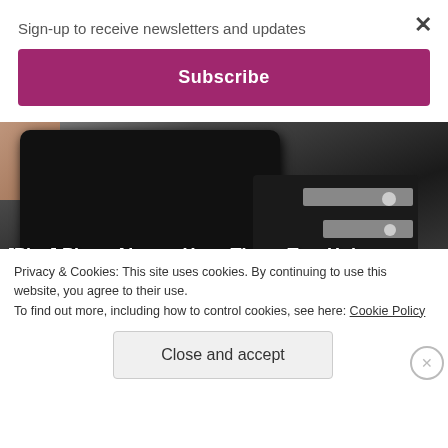Sign-up to receive newsletters and updates
Subscribe
[Figure (photo): Close-up photo of a black electrical plug held in a hand, showing the two flat prongs and grounding pin against a blurred background.]
[Pics] Plugs Always Have These Two Holes, Here's Why
Livestly
Privacy & Cookies: This site uses cookies. By continuing to use this website, you agree to their use.
To find out more, including how to control cookies, see here: Cookie Policy
Close and accept